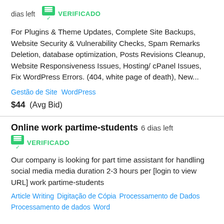dias left  VERIFICADO
For Plugins & Theme Updates, Complete Site Backups, Website Security & Vulnerability Checks, Spam Remarks Deletion, database optimization, Posts Revisions Cleanup, Website Responsiveness Issues, Hosting/ cPanel Issues, Fix WordPress Errors. (404, white page of death), New...
Gestão de Site   WordPress
$44  (Avg Bid)
Online work partime-students  6 dias left
VERIFICADO
Our company is looking for part time assistant for handling social media media duration 2-3 hours per [login to view URL] work partime-students
Article Writing   Digitação de Cópia   Processamento de Dados   Processamento de dados   Word